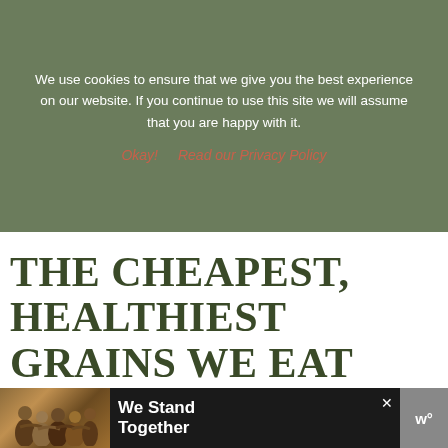We use cookies to ensure that we give you the best experience on our website. If you continue to use this site we will assume that you are happy with it.
Okay!   Read our Privacy Policy
THE CHEAPEST, HEALTHIEST GRAINS WE EAT
by Steph
[Figure (photo): Close-up photo of pasta/grains in a glass jar, showing rotini or fusilli pasta, blurred with bokeh effect]
[Figure (photo): Advertisement banner showing group of people from behind with arms around each other, with text 'We Stand Together']